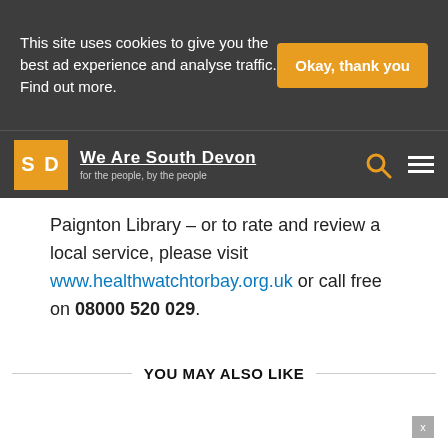This site uses cookies to give you the best ad experience and analyse traffic. Find out more.
Okay, thank you
[Figure (logo): We Are South Devon logo with orange SD square and text 'We Are South Devon – for the people, by the people']
Paignton Library – or to rate and review a local service, please visit www.healthwatchtorbay.org.uk or call free on 08000 520 029.
YOU MAY ALSO LIKE